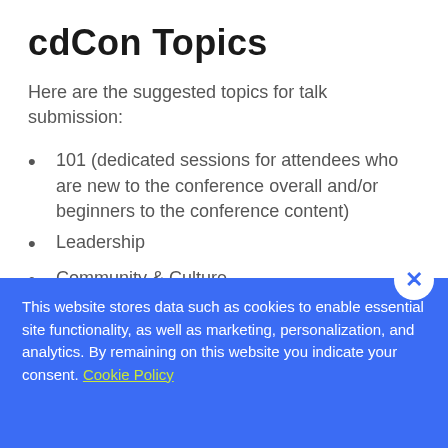cdCon Topics
Here are the suggested topics for talk submission:
101 (dedicated sessions for attendees who are new to the conference overall and/or beginners to the conference content)
Leadership
Community & Culture
Cloud Native CD
This website stores data such as cookies to enable essential site functionality, as well as marketing, personalization, and analytics. By remaining on this website you indicate your consent. Cookie Policy